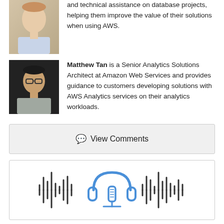[Figure (photo): Headshot of a man with light complexion against an outdoor background]
and technical assistance on database projects, helping them improve the value of their solutions when using AWS.
[Figure (photo): Headshot of Matthew Tan, an Asian man wearing glasses, in a grey shirt against a dark background]
Matthew Tan is a Senior Analytics Solutions Architect at Amazon Web Services and provides guidance to customers developing solutions with AWS Analytics services on their analytics workloads.
[Figure (other): View Comments button with speech bubble icon]
[Figure (illustration): Podcast icon illustration showing a microphone with headphones surrounded by audio waveform bars in dark/blue tones]